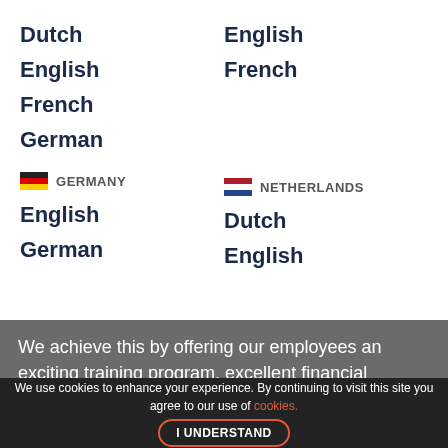Dutch
English
French
German
English
French
GERMANY
NETHERLANDS
English
German
Dutch
English
We achieve this by offering our employees an exciting training program, excellent financial rewards and superb market leading incentives. We also offer a well-established managerial career path.
We use cookies to enhance your experience. By continuing to visit this site you agree to our use of cookies.